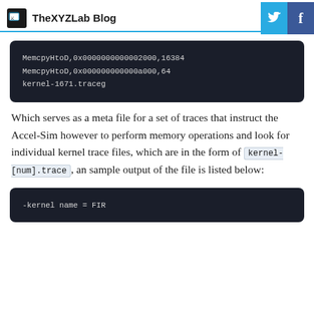TheXYZLab Blog
MemcpyHtoD,0x0000000000002000,16384
MemcpyHtoD,0x000000000000a000,64
kernel-1671.traceg
Which serves as a meta file for a set of traces that instruct the Accel-Sim however to perform memory operations and look for individual kernel trace files, which are in the form of kernel-[num].trace, an sample output of the file is listed below:
-kernel name = FIR